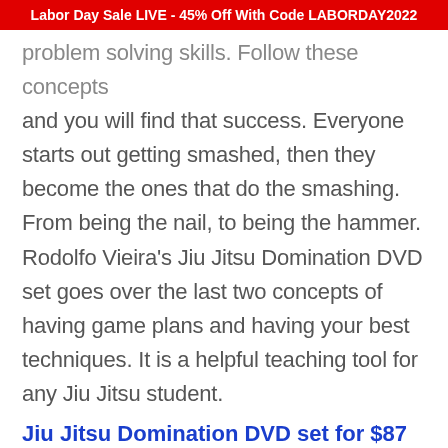Labor Day Sale LIVE - 45% Off With Code LABORDAY2022
problem solving skills. Follow these concepts and you will find that success. Everyone starts out getting smashed, then they become the ones that do the smashing. From being the nail, to being the hammer. Rodolfo Vieira's Jiu Jitsu Domination DVD set goes over the last two concepts of having game plans and having your best techniques. It is a helpful teaching tool for any Jiu Jitsu student.
Jiu Jitsu Domination DVD set for $87
← BACK TO LATEST BJJ NEWS